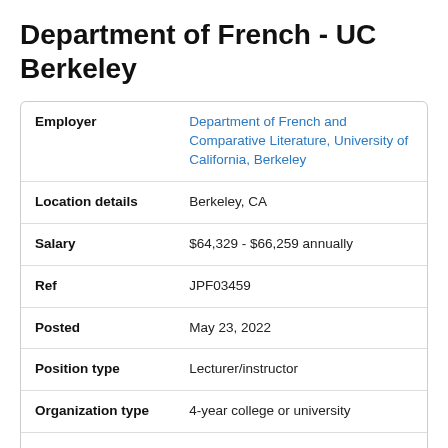Department of French - UC Berkeley
| Field | Value |
| --- | --- |
| Employer | Department of French and Comparative Literature, University of California, Berkeley |
| Location details | Berkeley, CA |
| Salary | $64,329 - $66,259 annually |
| Ref | JPF03459 |
| Posted | May 23, 2022 |
| Position type | Lecturer/instructor |
| Organization type | 4-year college or university |
| Languages | English, French |